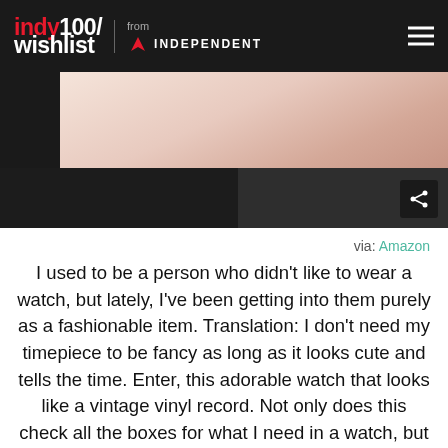indy100/ wishlist from INDEPENDENT
[Figure (photo): Partial image of a watch or vinyl record item, showing light pinkish/peach tones at top and dark tones at bottom with a share button]
via: Amazon
I used to be a person who didn't like to wear a watch, but lately, I've been getting into them purely as a fashionable item. Translation: I don't need my timepiece to be fancy as long as it looks cute and tells the time. Enter, this adorable watch that looks like a vintage vinyl record. Not only does this check all the boxes for what I need in a watch, but it also satisfies the audiophile in me too. “View